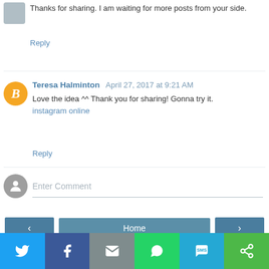Thanks for sharing. I am waiting for more posts from your side.
Reply
Teresa Halminton April 27, 2017 at 9:21 AM
Love the idea ^^ Thank you for sharing! Gonna try it.
instagram online
Reply
Enter Comment
Home
View web version